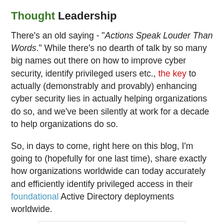Thought Leadership
There's an old saying - "Actions Speak Louder Than Words." While there's no dearth of talk by so many big names out there on how to improve cyber security, identify privileged users etc., the key to actually (demonstrably and provably) enhancing cyber security lies in actually helping organizations do so, and we've been silently at work for a decade to help organizations do so.
So, in days to come, right here on this blog, I'm going to (hopefully for one last time), share exactly how organizations worldwide can today accurately and efficiently identify privileged access in their foundational Active Directory deployments worldwide.
[Figure (photo): Chess pieces silhouettes on a white background, showing a king and other pieces in black]